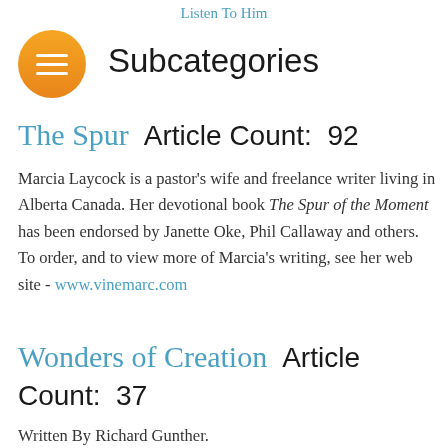Listen To Him
Subcategories
The Spur  Article Count:  92
Marcia Laycock is a pastor's wife and freelance writer living in Alberta Canada. Her devotional book The Spur of the Moment has been endorsed by Janette Oke, Phil Callaway and others.  To order, and to view more of Marcia's writing, see her web site - www.vinemarc.com
Wonders of Creation  Article Count:  37
Written By Richard Gunther.